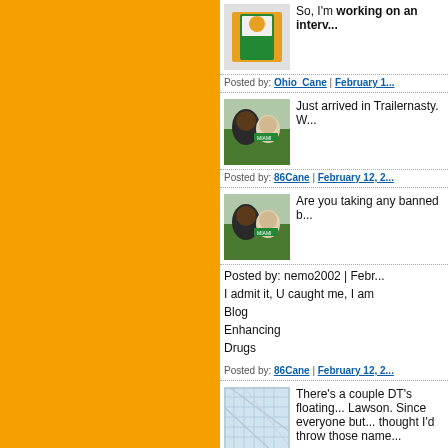So, I'm working on an interv...
Posted by: Ohio_Cane | February 1...
Just arrived in Trailernasty. W...
Posted by: 86Cane | February 12, 2...
Are you taking any banned b...
Posted by: nemo2002 | Febr...
I admit it, U caught me, I am
Blog
Enhancing
Drugs
Posted by: 86Cane | February 12, 2...
There's a couple DT's floating... Lawson. Since everyone but... thought I'd throw those name...
Posted by: 5shipsago | February 1...